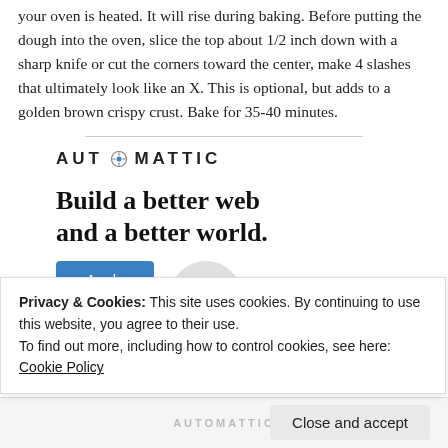your oven is heated. It will rise during baking. Before putting the dough into the oven, slice the top about 1/2 inch down with a sharp knife or cut the corners toward the center, make 4 slashes that ultimately look like an X. This is optional, but adds to a golden brown crispy crust. Bake for 35-40 minutes.
[Figure (logo): Automattic logo with stylized O containing a compass/clock icon, text in bold uppercase spaced letters]
Build a better web and a better world.
[Figure (illustration): Blue Apply button and circular portrait photo of a person with glasses on grey background]
Privacy & Cookies: This site uses cookies. By continuing to use this website, you agree to their use.
To find out more, including how to control cookies, see here: Cookie Policy
Close and accept
AUTOMATTIC